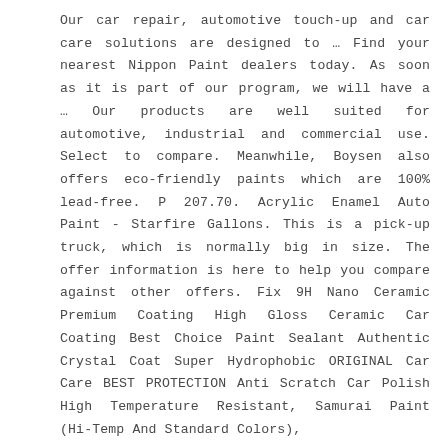Our car repair, automotive touch-up and car care solutions are designed to … Find your nearest Nippon Paint dealers today. As soon as it is part of our program, we will have a … Our products are well suited for automotive, industrial and commercial use. Select to compare. Meanwhile, Boysen also offers eco-friendly paints which are 100% lead-free. P 207.70. Acrylic Enamel Auto Paint - Starfire Gallons. This is a pick-up truck, which is normally big in size. The offer information is here to help you compare against other offers. Fix 9H Nano Ceramic Premium Coating High Gloss Ceramic Car Coating Best Choice Paint Sealant Authentic Crystal Coat Super Hydrophobic ORIGINAL Car Care BEST PROTECTION Anti Scratch Car Polish High Temperature Resistant, Samurai Paint (Hi-Temp And Standard Colors),